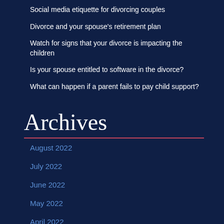Social media etiquette for divorcing couples
Divorce and your spouse's retirement plan
Watch for signs that your divorce is impacting the children
Is your spouse entitled to software in the divorce?
What can happen if a parent fails to pay child support?
Archives
August 2022
July 2022
June 2022
May 2022
April 2022